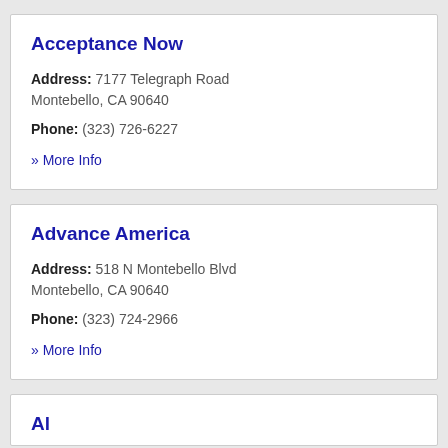Acceptance Now
Address: 7177 Telegraph Road Montebello, CA 90640
Phone: (323) 726-6227
» More Info
Advance America
Address: 518 N Montebello Blvd Montebello, CA 90640
Phone: (323) 724-2966
» More Info